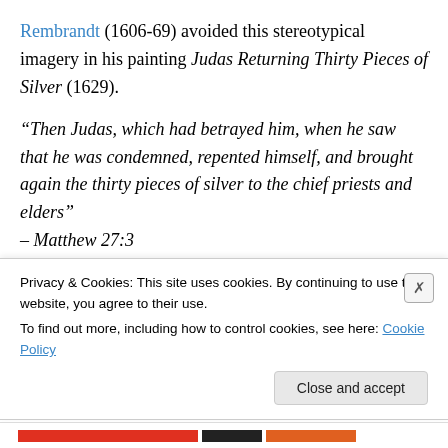Rembrandt (1606-69) avoided this stereotypical imagery in his painting Judas Returning Thirty Pieces of Silver (1629).
“Then Judas, which had betrayed him, when he saw that he was condemned, repented himself, and brought again the thirty pieces of silver to the chief priests and elders” – Matthew 27:3
Rembrandt’s painting shows the moment Judas attempts to return the money after he realises the extent of his
Privacy & Cookies: This site uses cookies. By continuing to use this website, you agree to their use.
To find out more, including how to control cookies, see here: Cookie Policy